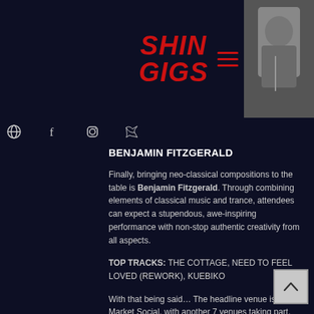SHIN GIGS
[Figure (photo): Partial photo of a person in dark clothing, top-right corner]
BENJAMIN FITZGERALD
Finally, bringing neo-classical compositions to the table is Benjamin Fitzgerald. Through combining elements of classical music and trance, attendees can expect a stupendous, awe-inspiring performance with non-stop authentic creativity from all aspects.
TOP TRACKS: THE COTTAGE, NEED TO FEEL LOVED (REWORK), KUEBIKO
With that being said… The headline venue is at Salt Market Social, with another 7 venues taking part, with Go North East open top buses for attendees to access venues with ease.
Saturday 28th May 2022. We hope to see you there! Tickets available from the wristband